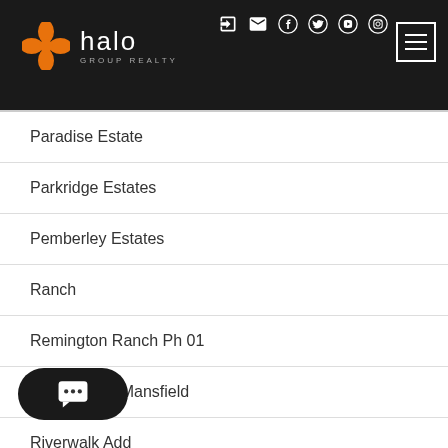Halo Group Realty
Paradise Estate
Parkridge Estates
Pemberley Estates
Ranch
Remington Ranch Ph 01
Ridge Trace Mansfield
Riverwalk Add